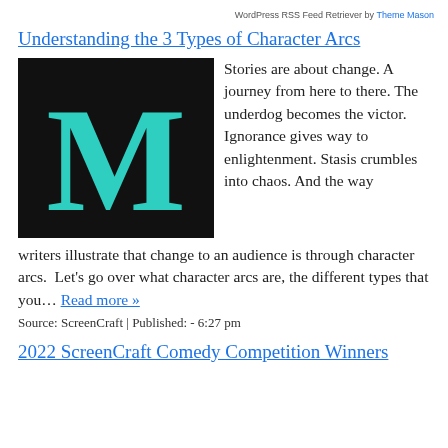WordPress RSS Feed Retriever by Theme Mason
Understanding the 3 Types of Character Arcs
[Figure (logo): Black background with large teal/cyan letter M in serif font, resembling a Medium logo]
Stories are about change. A journey from here to there. The underdog becomes the victor. Ignorance gives way to enlightenment. Stasis crumbles into chaos. And the way writers illustrate that change to an audience is through character arcs.  Let's go over what character arcs are, the different types that you… Read more »
Source: ScreenCraft | Published: - 6:27 pm
2022 ScreenCraft Comedy Competition Winners